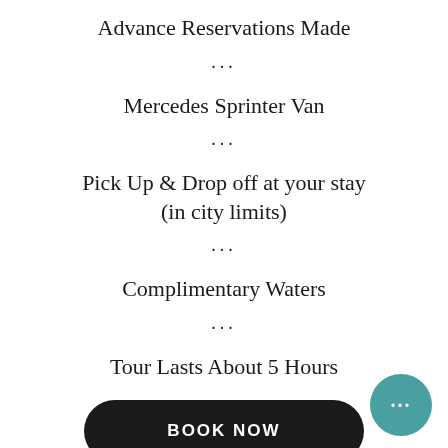Advance Reservations Made
...
Mercedes Sprinter Van
...
Pick Up & Drop off at your stay (in city limits)
...
Complimentary Waters
...
Tour Lasts About 5 Hours
BOOK NOW
PUBLIC TOUR
3 Pre-Selected, Pre-Paid Tasting
Advance Reservations Made